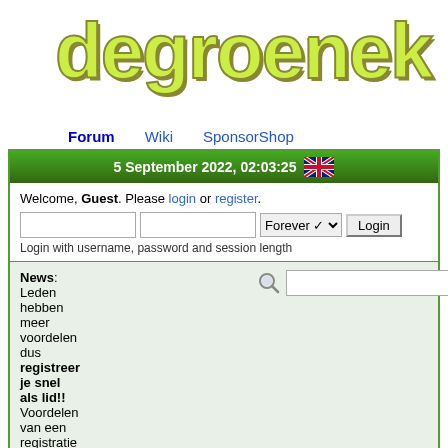[Figure (logo): degroenek logo text in yellow-green with dark outline]
Forum  Wiki  SponsorShop
5 September 2022, 02:03:25 [UK flag]
Welcome, Guest. Please login or register.
Login with username, password and session length
News:
Leden hebben meer voordelen dus registreer je snel als lid!!
Voordelen van een registratie zijn oa:
Zelf
De Groene Knop > Media Center Hardware & Software > Werking onder Windows 7 > Moederborden (Win7)